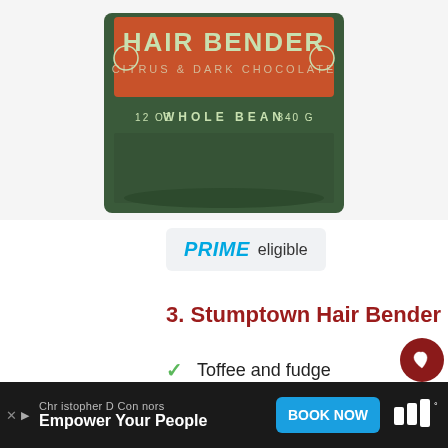[Figure (photo): Product photo of Stumptown Hair Bender coffee bag - green package with orange label showing 'HAIR BENDER', 'CITRUS & DARK CHOCOLATE', '12 OZ WHOLE BEAN 340G']
PRIME eligible
3. Stumptown Hair Bender
Toffee and fudge
Medium-dark roast
Smooth and creamy
Christopher D Connors
Empower Your People
BOOK NOW